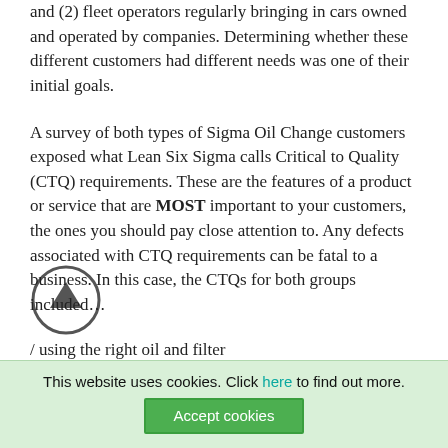and (2) fleet operators regularly bringing in cars owned and operated by companies. Determining whether these different customers had different needs was one of their initial goals.
A survey of both types of Sigma Oil Change customers exposed what Lean Six Sigma calls Critical to Quality (CTQ) requirements. These are the features of a product or service that are MOST important to your customers, the ones you should pay close attention to. Any defects associated with CTQ requirements can be fatal to a business. In this case, the CTQs for both groups included…
/ using the right oil and filter
This website uses cookies. Click here to find out more.
Accept cookies